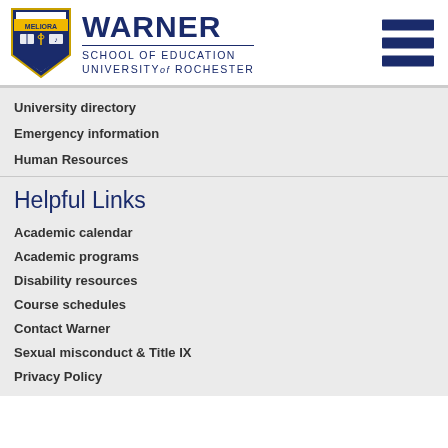[Figure (logo): Warner School of Education, University of Rochester shield logo and wordmark with hamburger menu icon]
University directory
Emergency information
Human Resources
Helpful Links
Academic calendar
Academic programs
Disability resources
Course schedules
Contact Warner
Sexual misconduct & Title IX
Privacy Policy